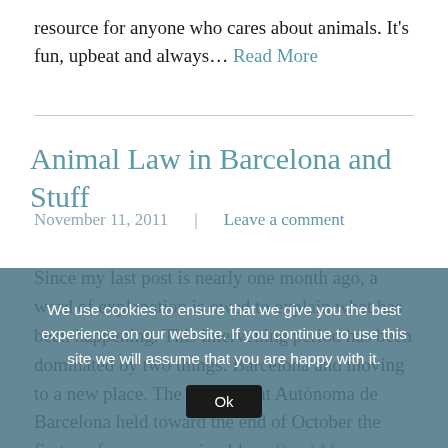resource for anyone who cares about animals. It's fun, upbeat and always… Read More
Animal Law in Barcelona and Stuff
November 11, 2011  |  Leave a comment
Since my last post is nearly one month ago, a word of explanation is owed to explain what has been happening. This intervening period has been dominated by two things: Barcelona and moving to a new place. The Universitat Autònoma de Barcelona held toward the end of October the first conference on animal la… Read More
We use cookies to ensure that we give you the best experience on our website. If you continue to use this site we will assume that you are happy with it. Ok